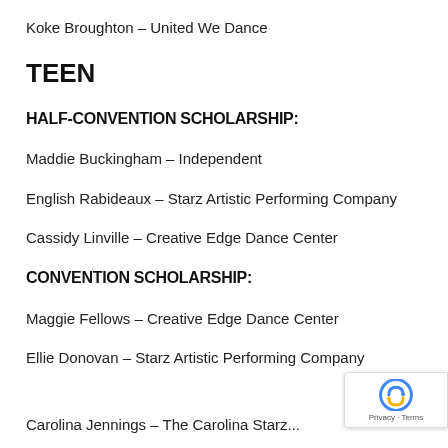Koke Broughton – United We Dance
TEEN
HALF-CONVENTION SCHOLARSHIP:
Maddie Buckingham – Independent
English Rabideaux – Starz Artistic Performing Company
Cassidy Linville – Creative Edge Dance Center
CONVENTION SCHOLARSHIP:
Maggie Fellows – Creative Edge Dance Center
Ellie Donovan – Starz Artistic Performing Company
Carolina Jennings – The Carolina Starz...